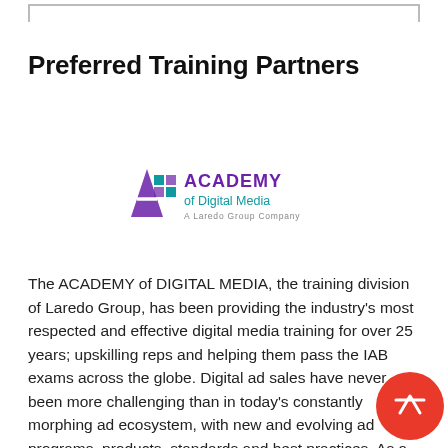Preferred Training Partners
[Figure (logo): Academy of Digital Media logo - A Laredo Group Company, with purple stylized 'A' icon and teal/purple grid squares]
The ACADEMY of DIGITAL MEDIA, the training division of Laredo Group, has been providing the industry's most respected and effective digital media training for over 25 years; upskilling reps and helping them pass the IAB exams across the globe. Digital ad sales have never been more challenging than in today's constantly morphing ad ecosystem, with new and evolving ad programs, products, standards and best practices. As a long-time partner of the IAB (Leslie Laredo, founder and principal, was a founding